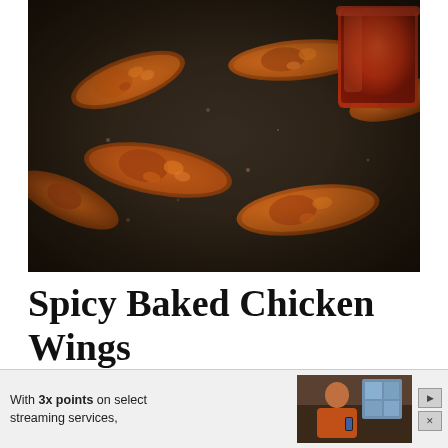[Figure (photo): Overhead close-up photo of spicy baked chicken wings on a dark baking pan, with a glass of orange/red sauce visible in the upper right corner. The wings appear crispy and golden-brown.]
Spicy Baked Chicken Wings
Baked chicken wings? As in, chicken wings without the
[Figure (photo): Advertisement banner showing a man in an orange shirt holding a phone, with text 'With 3x points on select streaming services,' and navigation controls.]